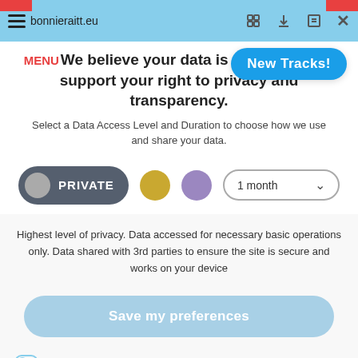bonnieraitt.eu
[Figure (screenshot): New Tracks! button in blue rounded rectangle]
We believe your data is your right. We support your right to privacy and transparency.
Select a Data Access Level and Duration to choose how we use and share your data.
[Figure (infographic): Privacy level selector with PRIVATE toggle button (dark grey), gold circle, purple circle, and 1 month dropdown]
Highest level of privacy. Data accessed for necessary basic operations only. Data shared with 3rd parties to ensure the site is secure and works on your device
Save my preferences
Customize   Privacy policy | Do Not Sell